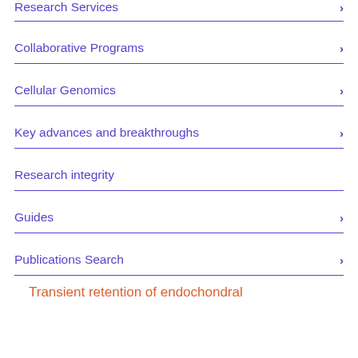Research Services
Collaborative Programs
Cellular Genomics
Key advances and breakthroughs
Research integrity
Guides
Publications Search
Transient retention of endochondral